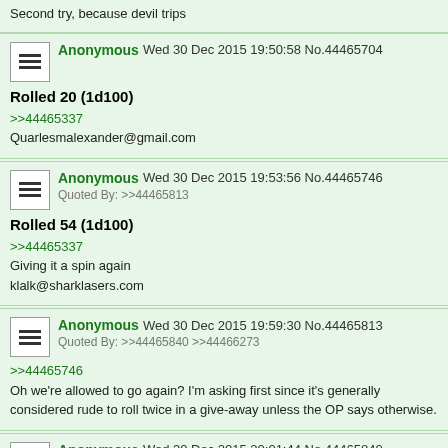Second try, because devil trips
Anonymous Wed 30 Dec 2015 19:50:58 No.44465704
Rolled 20 (1d100)
>>44465337
Quarlesmalexander@gmail.com
Anonymous Wed 30 Dec 2015 19:53:56 No.44465746
Quoted By: >>44465813
Rolled 54 (1d100)
>>44465337
Giving it a spin again
klalk@sharklasers.com
Anonymous Wed 30 Dec 2015 19:59:30 No.44465813
Quoted By: >>44465840 >>44466273
>>44465746
Oh we're allowed to go again? I'm asking first since it's generally considered rude to roll twice in a give-away unless the OP says otherwise.
Anonymous Wed 30 Dec 2015 20:01:44 No.44465840
Quoted By: >>44466273